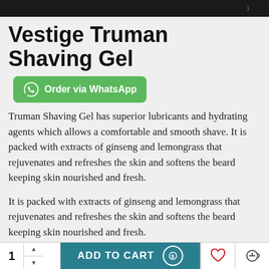ffffffffffffffffffffffffffffffffffffffff
Vestige Truman Shaving Gel
Truman Shaving Gel has superior lubricants and hydrating agents which allows a comfortable and smooth shave. It is packed with extracts of ginseng and lemongrass that rejuvenates and refreshes the skin and softens the beard keeping skin nourished and fresh.
It is packed with extracts of ginseng and lemongrass that rejuvenates and refreshes the skin and softens the beard keeping skin nourished and fresh.
Net contents: 50 g
1  ADD TO CART